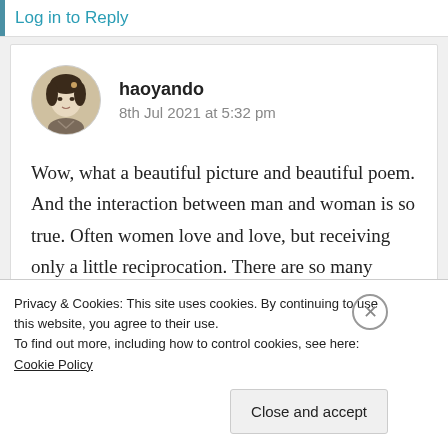Log in to Reply
[Figure (photo): Circular avatar photo of a woman in traditional Asian style illustration]
haoyando
8th Jul 2021 at 5:32 pm
Wow, what a beautiful picture and beautiful poem. And the interaction between man and woman is so true. Often women love and love, but receiving only a little reciprocation. There are so many things mysterious about our emotion and how we interact
Privacy & Cookies: This site uses cookies. By continuing to use this website, you agree to their use.
To find out more, including how to control cookies, see here: Cookie Policy
Close and accept